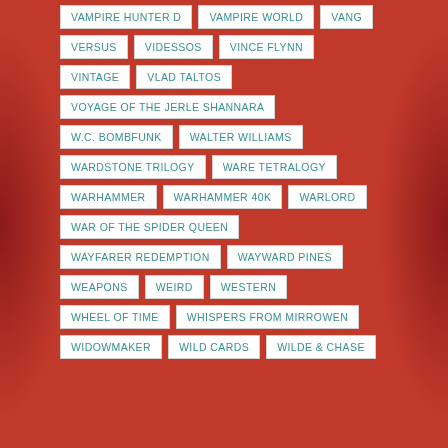VAMPIRE HUNTER D
VAMPIRE WORLD
VANG
VERSUS
VIDESSOS
VINCE FLYNN
VINTAGE
VLAD TALTOS
VOYAGE OF THE JERLE SHANNARA
W.C. BOMBFUNK
WALTER WILLIAMS
WARDSTONE TRILOGY
WARE TETRALOGY
WARHAMMER
WARHAMMER 40K
WARLORD
WAR OF THE SPIDER QUEEN
WAYFARER REDEMPTION
WAYWARD PINES
WEAPONS
WEIRD
WESTERN
WHEEL OF TIME
WHISPERS FROM MIRROWEN
WIDOWMAKER
WILD CARDS
WILDE & CHASE